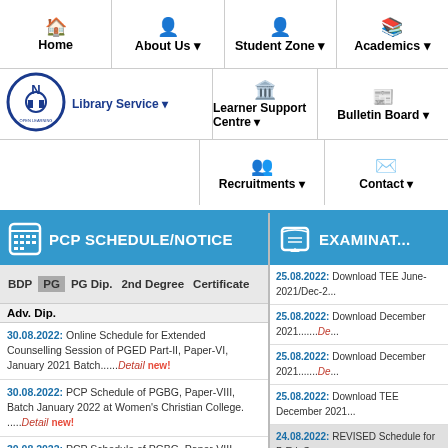Home | About Us | Student Zone | Academics | Library Service | Learner Support Centre | Bulletin Board | Recruitments | Contact
[Figure (logo): NIOS (National Institute of Open Schooling) logo - blue and white circular emblem]
PCP SCHEDULE/NOTICE
EXAMINAT...
BDP PG PG Dip. 2nd Degree Certificate Adv. Dip.
30.08.2022: Online Schedule for Extended Counselling Session of PGED Part-II, Paper-VI, January 2021 Batch......Detail new!
30.08.2022: PCP Schedule of PGBG, Paper-VIII, Batch January 2022 at Women's Christian College......Detail new!
30.08.2022: PCP Schedule of PGBG, Paper-VIII, Batch January 2021 at Sarojini Naidu College...
25.08.2022: Download TEE June-2021/Dec-2...
25.08.2022: Download December 2021.......De...
25.08.2022: Download December 2021.......De...
25.08.2022: Download TEE December 2021...
24.08.2022: REVISED Schedule for B.Ed. Sp...